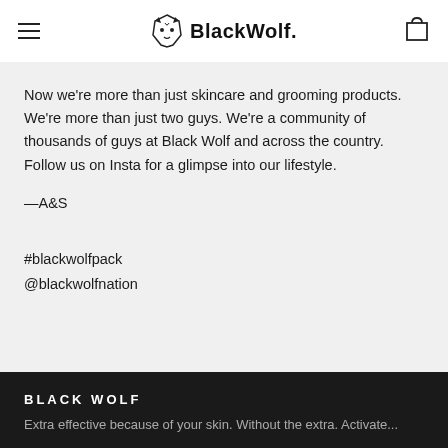BlackWolf.
Now we're more than just skincare and grooming products. We're more than just two guys. We're a community of thousands of guys at Black Wolf and across the country. Follow us on Insta for a glimpse into our lifestyle.
—A&S
#blackwolfpack
@blackwolfnation
BLACK WOLF